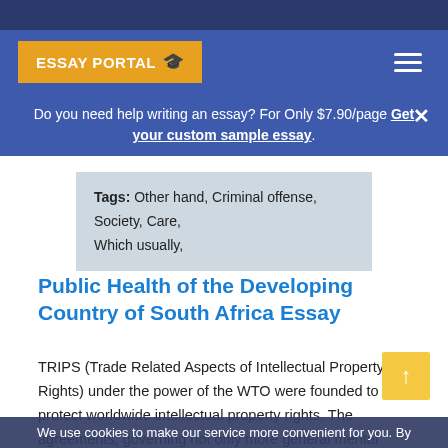ESSAY PORTAL 🎓
Do you need help writing an essay? For Only $7.90/page Get your custom sample essay.
Tags: Other hand, Criminal offense, Society, Care, Which usually,
Public Health of the Developing Country of South Africa Essay
TRIPS (Trade Related Aspects of Intellectual Property Rights) under the power of the WTO were founded to protect worldwide intellectual property rights. The agreements, governing not only more general mental property legal rights but as well as of the privatization of those rights.
We use cookies to make our service more convenient for you. By